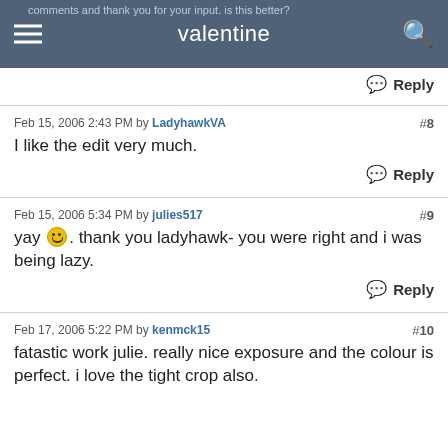valentine
comments and thank you for your input. is this better?
Reply
Feb 15, 2006 2:43 PM by LadyhawkVA #8
I like the edit very much.
Reply
Feb 15, 2006 5:34 PM by julies517 #9
yay :). thank you ladyhawk- you were right and i was being lazy.
Reply
Feb 17, 2006 5:22 PM by kenmck15 #10
fatastic work julie. really nice exposure and the colour is perfect. i love the tight crop also.